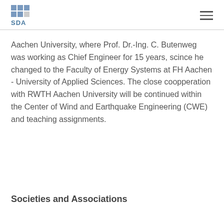SDA logo and navigation
Aachen University, where Prof. Dr.-Ing. C. Butenweg was working as Chief Engineer for 15 years, scince he changed to the Faculty of Energy Systems at FH Aachen - University of Applied Sciences. The close coopperation with RWTH Aachen University will be continued within the Center of Wind and Earthquake Engineering (CWE) and teaching assignments.
Societies and Associations